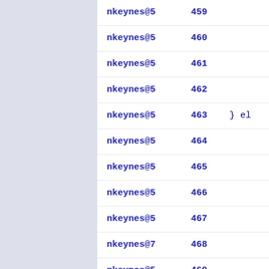| author | line | code |
| --- | --- | --- |
| nkeynes@5 | 459 |  |
| nkeynes@5 | 460 |  |
| nkeynes@5 | 461 |  |
| nkeynes@5 | 462 |  |
| nkeynes@5 | 463 | } el |
| nkeynes@5 | 464 |  |
| nkeynes@5 | 465 |  |
| nkeynes@5 | 466 |  |
| nkeynes@5 | 467 |  |
| nkeynes@7 | 468 |  |
| nkeynes@5 | 469 |  |